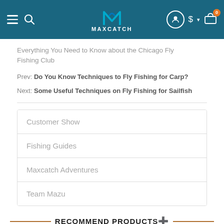MAXCATCH
Everything You Need to Know about the Chicago Fly Fishing Club
Prev: Do You Know Techniques to Fly Fishing for Carp?
Next: Some Useful Techniques on Fly Fishing for Sailfish
Customer Show
Fishing Guides
Maxcatch Adventures
Team Mazu
RECOMMEND PRODUCTS